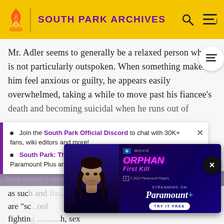SOUTH PARK ARCHIVES
Mr. Adler seems to generally be a relaxed person who is not particularly outspoken. When something makes him feel anxious or guilty, he appears easily overwhelmed, taking a while to move past his fiancee's death and becoming suicidal when he runs out of
Join the South Park Official Discord to chat with 30K+ fans, wiki editors and more!
South Park: The 25th Anniversary Concert is now out on Paramount Plus and Comedy Central.
as such... students are "sc... le, fighting... h, sex itself.
[Figure (screenshot): Ad banner for Orphan: First Kill movie on Paramount+]